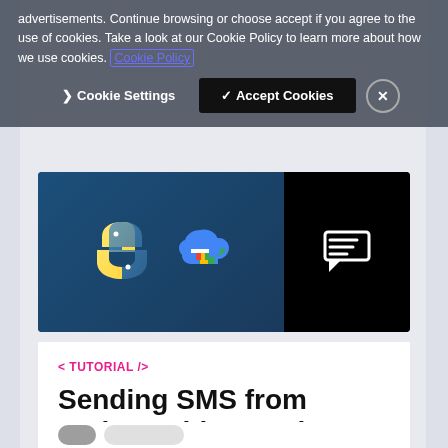advertisements. Continue browsing or choose accept if you agree to the use of cookies. Take a look at our Cookie Policy to learn more about how we use cookies. Cookie Policy
Cookie Settings  ✓ Accept Cookies  ✕
[Figure (illustration): Hero banner with Python logo (yellow snake symbol) and Google Cloud logo on dark blue background, and a dark/black panel on the right with a white chat/message icon]
< TUTORIAL />
Sending SMS from Python with Google Cloud Functions